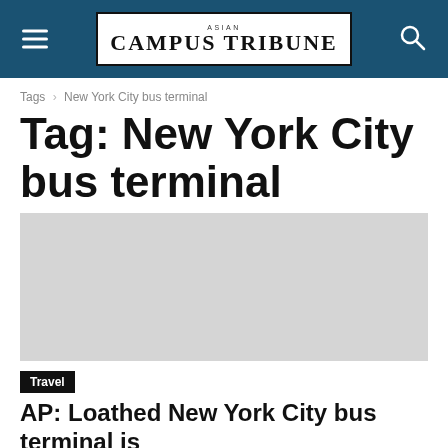Asian Campus Tribune
Tags › New York City bus terminal
Tag: New York City bus terminal
[Figure (other): Blank image placeholder area (gray rectangle)]
Travel
AP: Loathed New York City bus terminal is